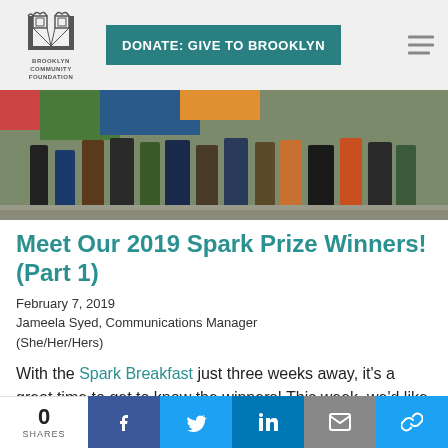DONATE: GIVE TO BROOKLYN | Brooklyn Community Foundation
[Figure (photo): Group of people crouching/sitting outdoors, partial view showing legs and lower bodies, colorful background]
Meet Our 2019 Spark Prize Winners! (Part 1)
February 7, 2019
Jameela Syed, Communications Manager (She/Her/Hers)
With the Spark Breakfast just three weeks away, it's a great time to get to know the winners! This week, we'd like
0 SHARES | Facebook | Twitter | LinkedIn | Email | Link